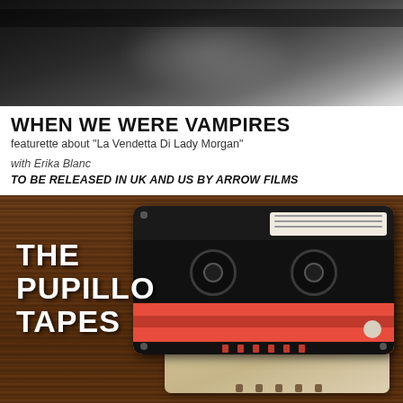[Figure (photo): Dark blurred black and white image, likely a still from a horror film]
WHEN WE WERE VAMPIRES
featurette about "La Vendetta Di Lady Morgan"
with Erika Blanc
TO BE RELEASED IN UK AND US BY ARROW FILMS
[Figure (photo): Photo of stacked cassette tapes on a wooden surface with 'THE PUPILLO TAPES' text overlay]